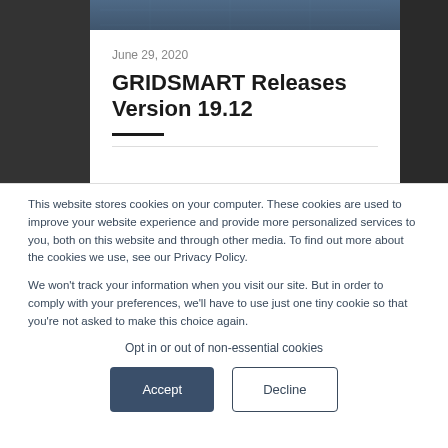[Figure (photo): Aerial/overhead photo of a city intersection or traffic scene, partially visible at the top of the page behind dark side panels]
June 29, 2020
GRIDSMART Releases Version 19.12
This website stores cookies on your computer. These cookies are used to improve your website experience and provide more personalized services to you, both on this website and through other media. To find out more about the cookies we use, see our Privacy Policy.
We won't track your information when you visit our site. But in order to comply with your preferences, we'll have to use just one tiny cookie so that you're not asked to make this choice again.
Opt in or out of non-essential cookies